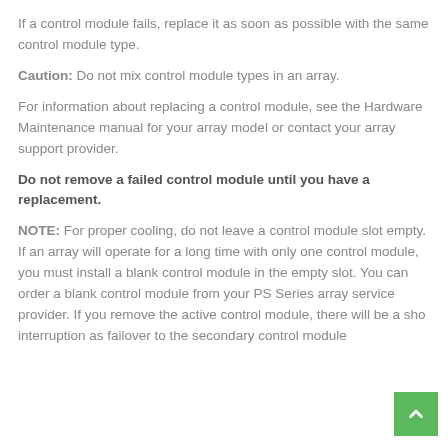If a control module fails, replace it as soon as possible with the same control module type.
Caution: Do not mix control module types in an array.
For information about replacing a control module, see the Hardware Maintenance manual for your array model or contact your array support provider.
Do not remove a failed control module until you have a replacement.
NOTE: For proper cooling, do not leave a control module slot empty. If an array will operate for a long time with only one control module, you must install a blank control module in the empty slot. You can order a blank control module from your PS Series array service provider. If you remove the active control module, there will be a sho interruption as failover to the secondary control module